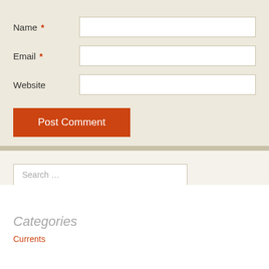Name *
Email *
Website
Post Comment
Search ...
Categories
Currents